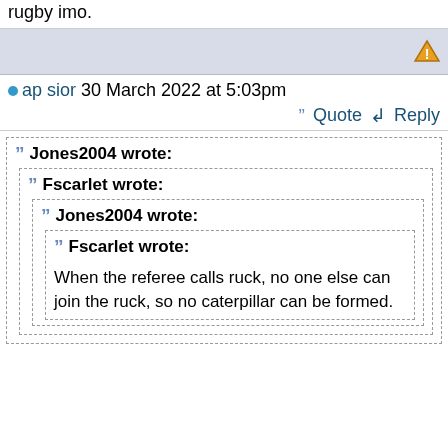rugby imo.
ap sior 30 March 2022 at 5:03pm
Quote  Reply
Jones2004 wrote:
Fscarlet wrote:
Jones2004 wrote:
Fscarlet wrote:
When the referee calls ruck, no one else can join the ruck, so no caterpillar can be formed.